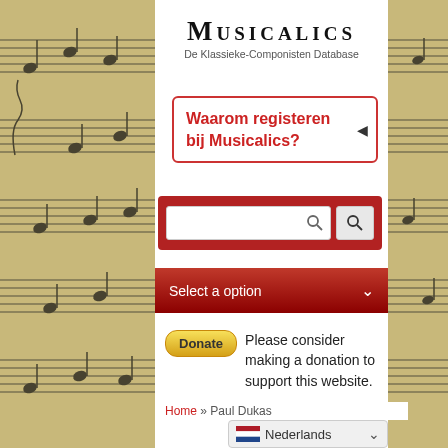Musicalics
De Klassieke-Componisten Database
Waarom registeren bij Musicalics?
[Figure (screenshot): Search bar with text input field and search button on a dark red background]
Select a option
Donate  Please consider making a donation to support this website.
Home » Paul Dukas
Nederlands